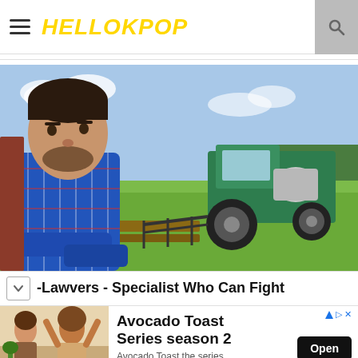HELLOKPOP
[Figure (photo): A man in a blue plaid shirt leaning on a fence with a green tractor in the background on a farm field]
-Lawvers - Specialist Who Can Fight
[Figure (photo): Advertisement showing two women. Text reads: Avocado Toast Series season 2. Avocado Toast the series. Open button.]